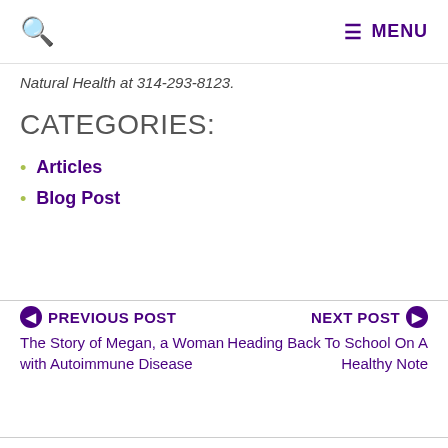🔍   ≡ MENU
Natural Health at 314-293-8123.
CATEGORIES:
Articles
Blog Post
PREVIOUS POST
The Story of Megan, a Woman with Autoimmune Disease
NEXT POST
Heading Back To School On A Healthy Note